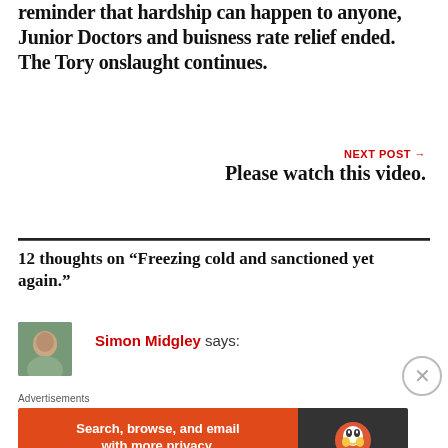reminder that hardship can happen to anyone, Junior Doctors and buisness rate relief ended. The Tory onslaught continues.
NEXT POST →
Please watch this video.
12 thoughts on “Freezing cold and sanctioned yet again.”
Simon Midgley says:
Advertisements
[Figure (screenshot): DuckDuckGo advertisement banner: orange left panel with text 'Search, browse, and email with more privacy. All in One Free App' and dark right panel with DuckDuckGo logo and duck icon.]